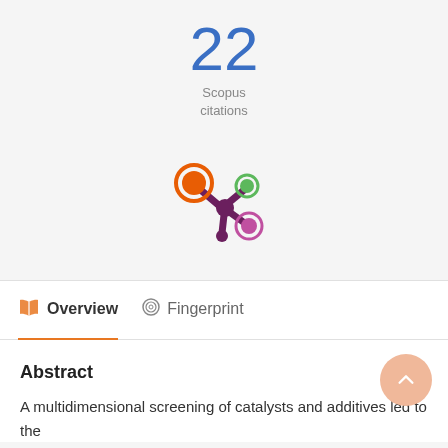22
Scopus
citations
[Figure (logo): Altmetric logo - colorful starburst with orange, green, and purple circles on purple stem]
Overview
Fingerprint
Abstract
A multidimensional screening of catalysts and additives led to the